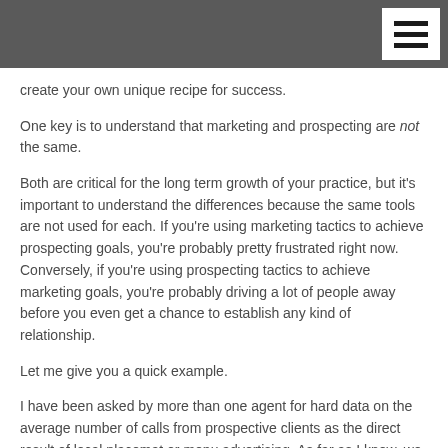create your own unique recipe for success.
One key is to understand that marketing and prospecting are not the same.
Both are critical for the long term growth of your practice, but it's important to understand the differences because the same tools are not used for each. If you're using marketing tactics to achieve prospecting goals, you're probably pretty frustrated right now. Conversely, if you're using prospecting tactics to achieve marketing goals, you're probably driving a lot of people away before you even get a chance to establish any kind of relationship.
Let me give you a quick example.
I have been asked by more than one agent for hard data on the average number of calls from prospective clients as the direct result of local placemat or menu advertising. As far as I know, we have never received a call from someone interested in life insurance or retirement income planning because they saw our